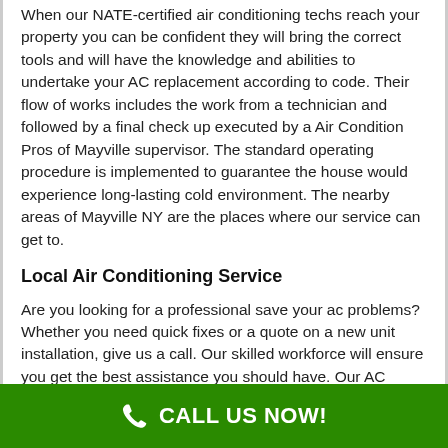When our NATE-certified air conditioning techs reach your property you can be confident they will bring the correct tools and will have the knowledge and abilities to undertake your AC replacement according to code. Their flow of works includes the work from a technician and followed by a final check up executed by a Air Condition Pros of Mayville supervisor. The standard operating procedure is implemented to guarantee the house would experience long-lasting cold environment. The nearby areas of Mayville NY are the places where our service can get to.
Local Air Conditioning Service
Are you looking for a professional save your ac problems? Whether you need quick fixes or a quote on a new unit installation, give us a call. Our skilled workforce will ensure you get the best assistance you should have. Our AC support has the training, the knowledge, and all essential tools to get your
CALL US NOW!